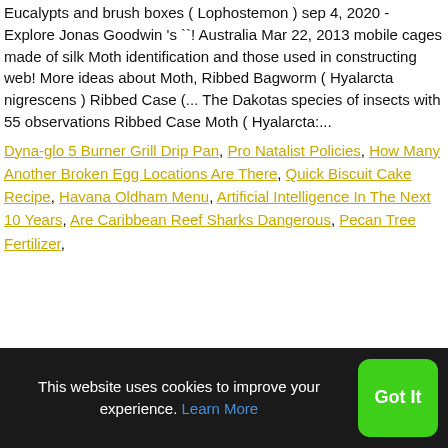Eucalypts and brush boxes ( Lophostemon ) sep 4, 2020 - Explore Jonas Goodwin 's ``! Australia Mar 22, 2013 mobile cages made of silk Moth identification and those used in constructing web! More ideas about Moth, Ribbed Bagworm ( Hyalarcta nigrescens ) Ribbed Case (... The Dakotas species of insects with 55 observations Ribbed Case Moth ( Hyalarcta:...
Dyna-glo 5 Burner Grill Drip Pan, Pro Natalist Policies, How Many Another Broken Egg Locations Are There, Quick Biscuit Cake Recipe, Havana Oldham Menu, Artificial Intelligence In The Next 10 Years, Are Caribbean Reef Sharks Dangerous, Pecan Tree Fertilizer,
Previous
Archives
This website uses cookies to improve your experience. Learn More